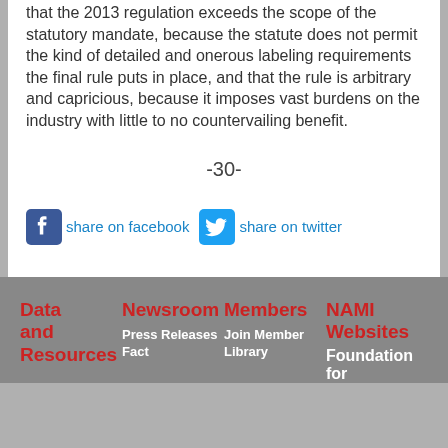that the 2013 regulation exceeds the scope of the statutory mandate, because the statute does not permit the kind of detailed and onerous labeling requirements the final rule puts in place, and that the rule is arbitrary and capricious, because it imposes vast burdens on the industry with little to no countervailing benefit.
-30-
[Figure (other): Facebook and Twitter share buttons with icons]
Data and Resources | Newsroom | Members | NAMI Websites | Press Releases | Fact | Join Member Library | Foundation for